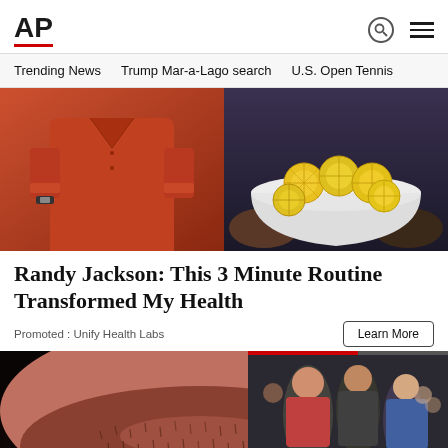AP
Trending News
Trump Mar-a-Lago search
U.S. Open Tennis
[Figure (photo): Split image: left half shows a person in a red shirt, right half shows hands holding a bowl of lemon slices]
Randy Jackson: This 3 Minute Routine Transformed My Health
Promoted : Unify Health Labs
[Figure (photo): Close-up of a man's lower face showing beard stubble and white teeth]
[Figure (screenshot): Video overlay showing people at an event with title USelectionconspir...]